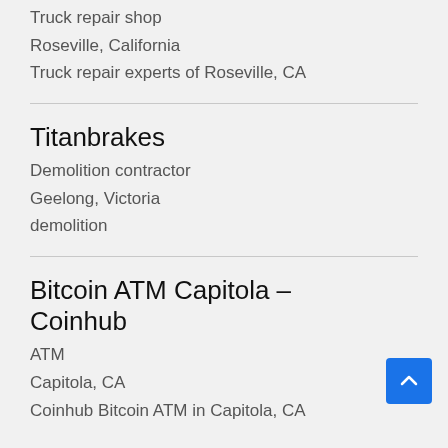Truck repair shop
Roseville, California
Truck repair experts of Roseville, CA
Titanbrakes
Demolition contractor
Geelong, Victoria
demolition
Bitcoin ATM Capitola – Coinhub
ATM
Capitola, CA
Coinhub Bitcoin ATM in Capitola, CA